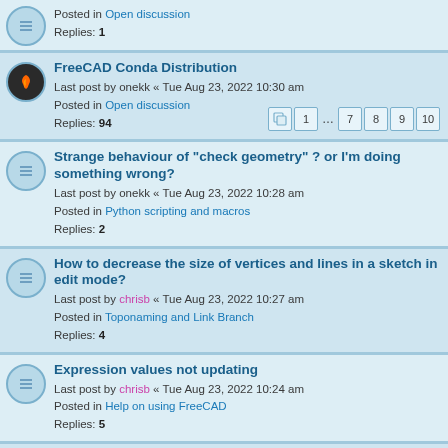Posted in Open discussion
Replies: 1
FreeCAD Conda Distribution
Last post by onekk « Tue Aug 23, 2022 10:30 am
Posted in Open discussion
Replies: 94
Strange behaviour of "check geometry" ? or I'm doing something wrong?
Last post by onekk « Tue Aug 23, 2022 10:28 am
Posted in Python scripting and macros
Replies: 2
How to decrease the size of vertices and lines in a sketch in edit mode?
Last post by chrisb « Tue Aug 23, 2022 10:27 am
Posted in Toponaming and Link Branch
Replies: 4
Expression values not updating
Last post by chrisb « Tue Aug 23, 2022 10:24 am
Posted in Help on using FreeCAD
Replies: 5
Errors when creating a nurbs surface using Part.BSplineSurface().buildFromPolesMultsKnots(...)
Last post by Chris_G « Tue Aug 23, 2022 10:19 am
Posted in Python scripting and macros
Replies: 5
ModuleNotFoundError: No module named 'osecore'
Last post by Shalmeneser « Tue Aug 23, 2022 10:12 am
Posted in Forum français
Replies: 1